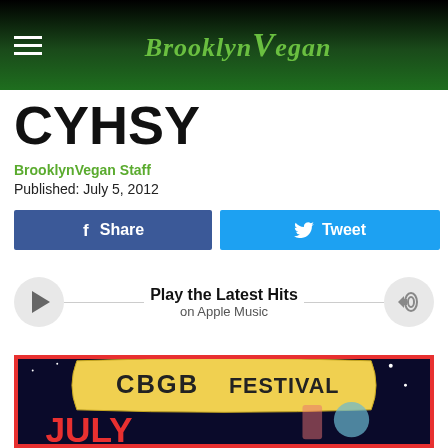BrooklynVegan
CYHSY
BrooklynVegan Staff
Published: July 5, 2012
Share
Tweet
Play the Latest Hits on Apple Music
[Figure (illustration): CBGB Festival promotional poster with space theme, showing 'CBGB FESTIVAL' on a banner ribbon and 'JULY 5-8' text on black background with illustrated characters]